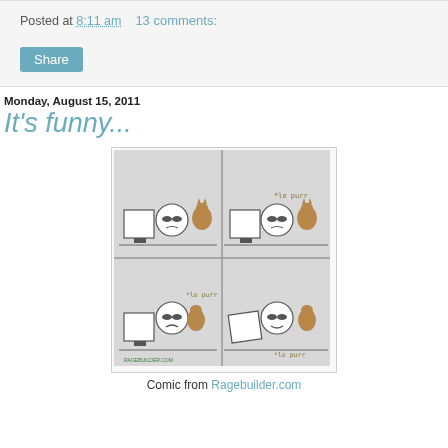Posted at 8:11 am    13 comments:
Share
Monday, August 15, 2011
It's funny...
[Figure (illustration): 4-panel rage comic showing a person at a computer with a cat purring. Each panel shows the person reacting to the cat's purring (*le purr). From Ragebuilder.com.]
Comic from Ragebuilder.com